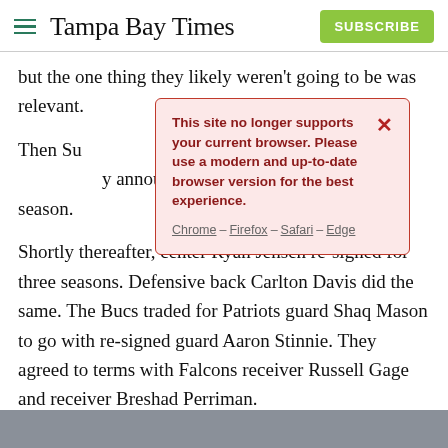Tampa Bay Times | SUBSCRIBE
but the one thing they likely weren't going to be was relevant.
[Figure (screenshot): Browser compatibility warning modal box with red border and pink background. Text reads: 'This site no longer supports your current browser. Please use a modern and up-to-date browser version for the best experience.' Links: Chrome – Firefox – Safari – Edge. X close button in top right.]
Then Su… by announc… 2 season.
Shortly thereafter, center Ryan Jensen re-signed for three seasons. Defensive back Carlton Davis did the same. The Bucs traded for Patriots guard Shaq Mason to go with re-signed guard Aaron Stinnie. They agreed to terms with Falcons receiver Russell Gage and receiver Breshad Perriman.